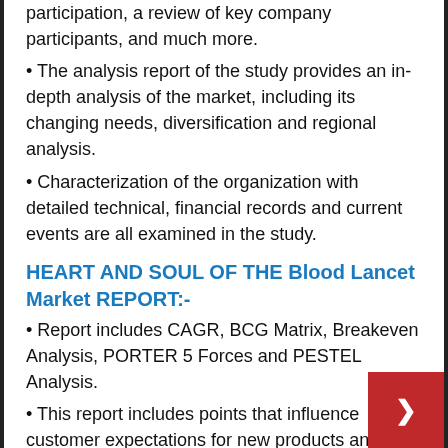participation, a review of key company participants, and much more.
The analysis report of the study provides an in-depth analysis of the market, including its changing needs, diversification and regional analysis.
Characterization of the organization with detailed technical, financial records and current events are all examined in the study.
HEART AND SOUL OF THE Blood Lancet Market REPORT:-
Report includes CAGR, BCG Matrix, Breakeven Analysis, PORTER 5 Forces and PESTEL Analysis.
This report includes points that influence customer expectations for new products and services, sources of desired product and service